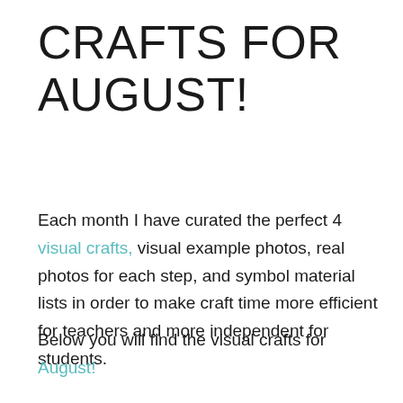CRAFTS FOR AUGUST!
Each month I have curated the perfect 4 visual crafts, visual example photos, real photos for each step, and symbol material lists in order to make craft time more efficient for teachers and more independent for students.
Below you will find the visual crafts for August!